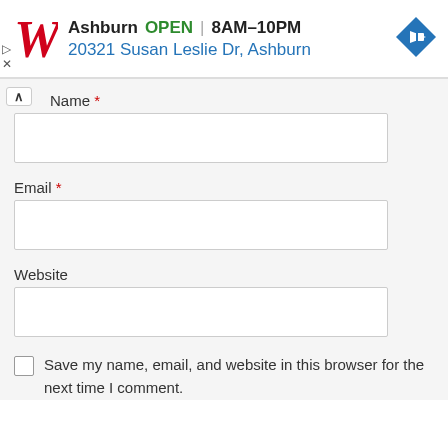[Figure (screenshot): Walgreens advertisement banner showing store in Ashburn, open 8AM-10PM, address 20321 Susan Leslie Dr, Ashburn, with Walgreens logo and navigation arrow icon]
Name *
Email *
Website
Save my name, email, and website in this browser for the next time I comment.